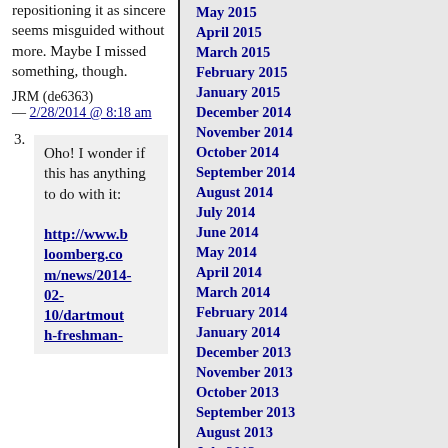repositioning it as sincere seems misguided without more. Maybe I missed something, though.
JRM (de6363) — 2/28/2014 @ 8:18 am
3. Oho! I wonder if this has anything to do with it: http://www.bloomberg.com/news/2014-02-10/dartmouth-freshman-
May 2015
April 2015
March 2015
February 2015
January 2015
December 2014
November 2014
October 2014
September 2014
August 2014
July 2014
June 2014
May 2014
April 2014
March 2014
February 2014
January 2014
December 2013
November 2013
October 2013
September 2013
August 2013
July 2013
June 2013
May 2013
April 2013
March 2013
February 2013
January 2013
December 2012
November 2012
October 2012